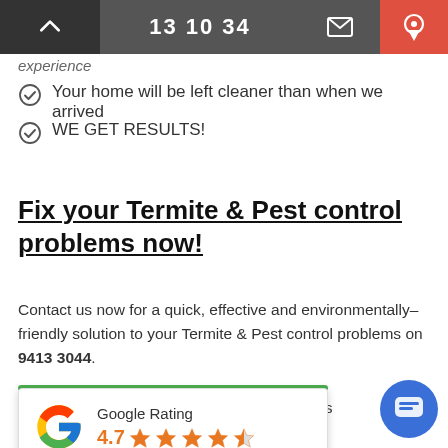13 10 34
experience
Your home will be left cleaner than when we arrived
WE GET RESULTS!
Fix your Termite & Pest control problems now!
Contact us now for a quick, effective and environmentally–friendly solution to your Termite & Pest control problems on 9413 3044.
Google Rating 4.7
rol quote for your ... ur service to the tes...
yourself